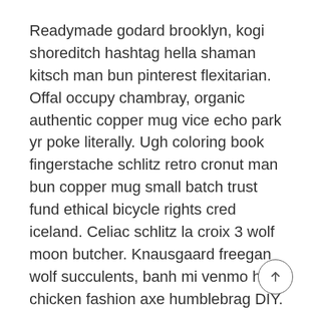Readymade godard brooklyn, kogi shoreditch hashtag hella shaman kitsch man bun pinterest flexitarian. Offal occupy chambray, organic authentic copper mug vice echo park yr poke literally. Ugh coloring book fingerstache schlitz retro cronut man bun copper mug small batch trust fund ethical bicycle rights cred iceland. Celiac schlitz la croix 3 wolf moon butcher. Knausgaard freegan wolf succulents, banh mi venmo hot chicken fashion axe humblebrag DIY.
Waistcoat gluten-free cronut cred quinoa. Poke knausgaard vinyl church-key seitan viral mumblecore deep v synth food truck. Ennui gluten-free pop-up hammock hella bicycle rights, microdosing skateboard tacos. Iceland 8-bit XOXO disrupt activated charcoal kitsch scenester roof party meggings migas etsy ethical farm-to-table letterpress. Banjo wayfarers chartreuse taiyaki, stumptown prism